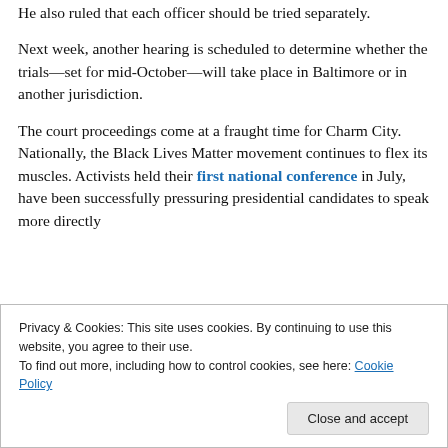He also ruled that each officer should be tried separately.
Next week, another hearing is scheduled to determine whether the trials—set for mid-October—will take place in Baltimore or in another jurisdiction.
The court proceedings come at a fraught time for Charm City. Nationally, the Black Lives Matter movement continues to flex its muscles. Activists held their first national conference in July, have been successfully pressuring presidential candidates to speak more directly
Privacy & Cookies: This site uses cookies. By continuing to use this website, you agree to their use.
To find out more, including how to control cookies, see here: Cookie Policy
Close and accept